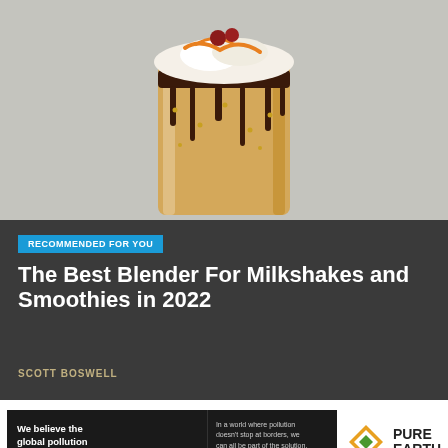[Figure (photo): A tall glass milkshake with chocolate drizzle dripping down the sides, topped with whipped cream, caramel, and cherry garnishes, on a light gray background.]
RECOMMENDED FOR YOU
The Best Blender For Milkshakes and Smoothies in 2022
SCOTT BOSWELL
[Figure (infographic): Advertisement banner for Pure Earth. Left side dark background reads: 'We believe the global pollution crisis can be solved.' Right side text: 'In a world where pollution doesn't stop at borders, we can all be part of the solution. JOIN US.' Pure Earth logo on the right.]